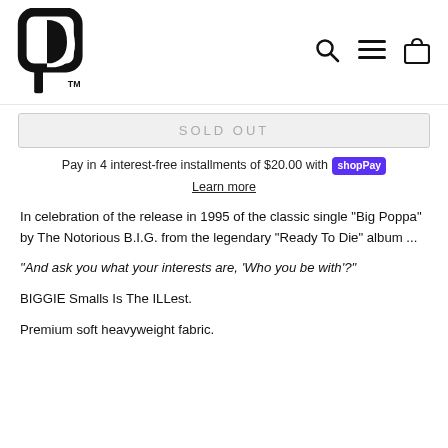[Figure (logo): Brand logo: stylized P letter mark with TM symbol]
[Figure (other): Navigation icons: search magnifying glass, hamburger menu, shopping bag]
SOLD OUT
Pay in 4 interest-free installments of $20.00 with shopPay
Learn more
In celebration of the release in 1995 of the classic single "Big Poppa" by The Notorious B.I.G. from the legendary "Ready To Die" album ...
"And ask you what your interests are, 'Who you be with'?"
BIGGIE Smalls Is The ILLest.
Premium soft heavyweight fabric.